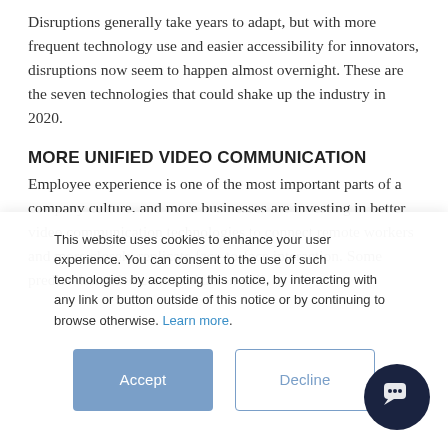Disruptions generally take years to adapt, but with more frequent technology use and easier accessibility for innovators, disruptions now seem to happen almost overnight. These are the seven technologies that could shake up the industry in 2020.
MORE UNIFIED VIDEO COMMUNICATION
Employee experience is one of the most important parts of a company culture, and more businesses are investing in better video communication technologies to connect remote workers and more closely replicate face-to-face interaction. Some predict that video communication will
This website uses cookies to enhance your user experience. You can consent to the use of such technologies by accepting this notice, by interacting with any link or button outside of this notice or by continuing to browse otherwise. Learn more.
[Figure (other): Accept and Decline cookie consent buttons with a chat bubble icon in the bottom right corner]